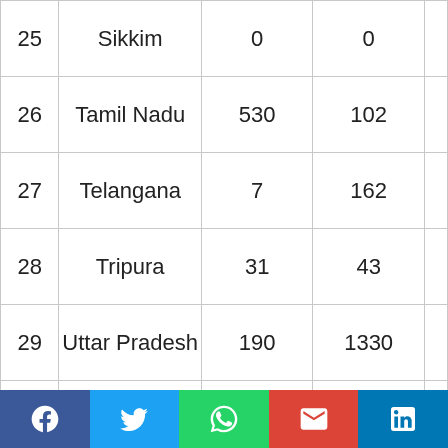| 25 | Sikkim | 0 | 0 |  |
| 26 | Tamil Nadu | 530 | 102 |  |
| 27 | Telangana | 7 | 162 |  |
| 28 | Tripura | 31 | 43 |  |
| 29 | Uttar Pradesh | 190 | 1330 |  |
| 30 | Uttarakhand | 223 | 460 |  |
[Figure (infographic): Social media share bar with Facebook, Twitter, WhatsApp, Gmail/Google, and LinkedIn buttons]